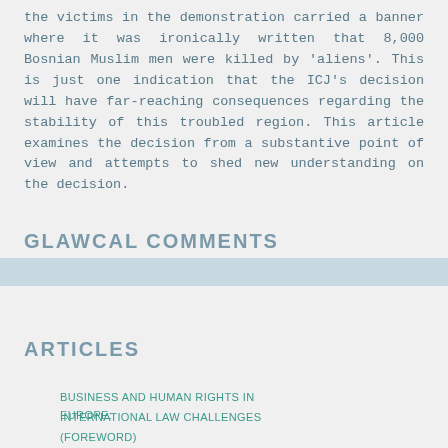the victims in the demonstration carried a banner where it was ironically written that 8,000 Bosnian Muslim men were killed by 'aliens'. This is just one indication that the ICJ's decision will have far-reaching consequences regarding the stability of this troubled region. This article examines the decision from a substantive point of view and attempts to shed new understanding on the decision.
GLAWCAL COMMENTS
ARTICLES
[Figure (screenshot): Cookie consent overlay with text 'This website uses cookies to ensure you get the best experience on our website.' with Learn more link and Decline / Got it! buttons]
BUSINESS AND HUMAN RIGHTS IN EUROPE:
INTERNATIONAL LAW CHALLENGES
(FOREWORD)